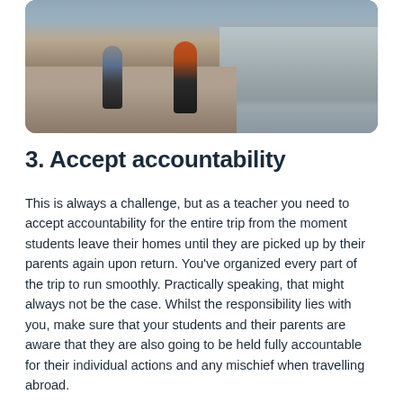[Figure (photo): Two people hiking/wading through a rocky stream or creek in an outdoor setting, viewed from behind. One person wears an orange/red shirt, the other wears grey. Water is visible on the right side.]
3. Accept accountability
This is always a challenge, but as a teacher you need to accept accountability for the entire trip from the moment students leave their homes until they are picked up by their parents again upon return. You've organized every part of the trip to run smoothly. Practically speaking, that might always not be the case. Whilst the responsibility lies with you, make sure that your students and their parents are aware that they are also going to be held fully accountable for their individual actions and any mischief when travelling abroad.